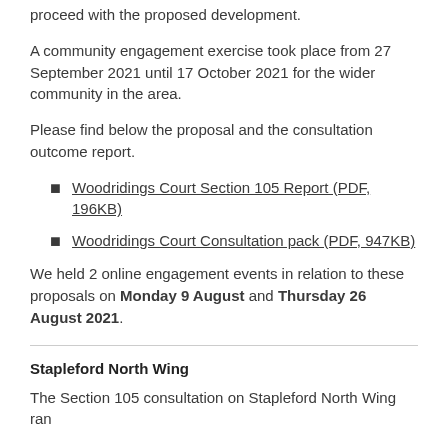proceed with the proposed development.
A community engagement exercise took place from 27 September 2021 until 17 October 2021 for the wider community in the area.
Please find below the proposal and the consultation outcome report.
Woodridings Court Section 105 Report (PDF, 196KB)
Woodridings Court Consultation pack (PDF, 947KB)
We held 2 online engagement events in relation to these proposals on Monday 9 August and Thursday 26 August 2021.
Stapleford North Wing
The Section 105 consultation on Stapleford North Wing ran